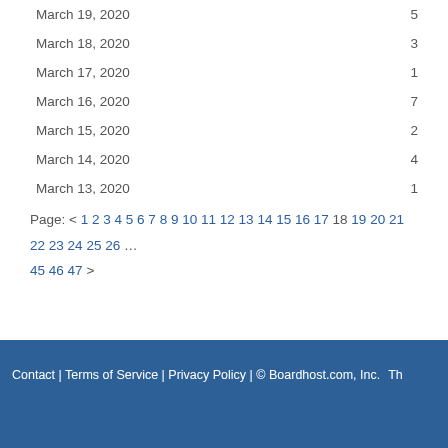March 19, 2020    5
March 18, 2020    3
March 17, 2020    1
March 16, 2020    7
March 15, 2020    2
March 14, 2020    4
March 13, 2020    1
Page: < 1 2 3 4 5 6 7 8 9 10 11 12 13 14 15 16 17 18 19 20 21 22 23 24 25 26 … 45 46 47 >
Contact | Terms of Service | Privacy Policy | © Boardhost.com, Inc.    Th…